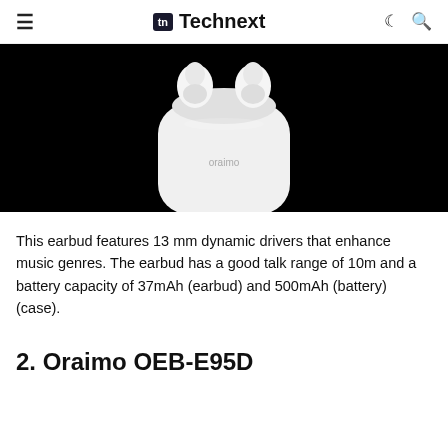Technext
[Figure (photo): White oraimo wireless earbuds with charging case on a black background]
This earbud features 13 mm dynamic drivers that enhance music genres. The earbud has a good talk range of 10m and a battery capacity of 37mAh (earbud) and 500mAh (battery) (case).
2. Oraimo OEB-E95D